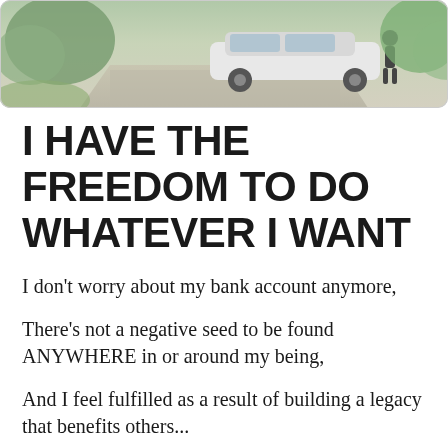[Figure (photo): Outdoor photo showing a car parked on a driveway with greenery/trees in the background and a person visible near the car]
I HAVE THE FREEDOM TO DO WHATEVER I WANT
I don't worry about my bank account anymore,
There's not a negative seed to be found ANYWHERE in or around my being,
And I feel fulfilled as a result of building a legacy that benefits others...